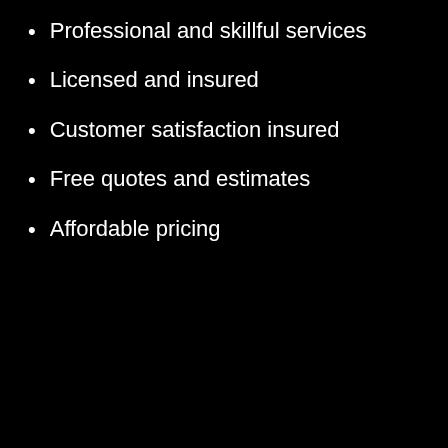Professional and skillful services
Licensed and insured
Customer satisfaction insured
Free quotes and estimates
Affordable pricing